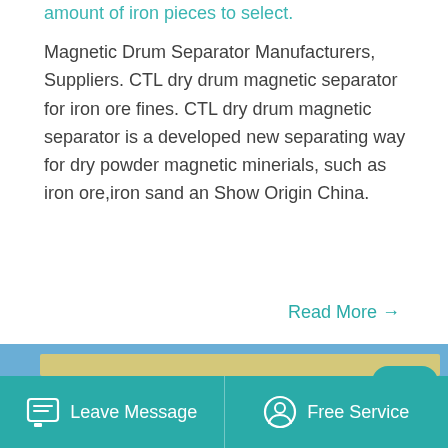amount of iron pieces to select.
Magnetic Drum Separator Manufacturers, Suppliers. CTL dry drum magnetic separator for iron ore fines. CTL dry drum magnetic separator is a developed new separating way for dry powder magnetic minerials, such as iron ore,iron sand an Show Origin China.
Read More →
[Figure (photo): Close-up photo of a yellow Metso industrial magnetic drum separator machine against a blue sky background.]
Leave Message   Free Service